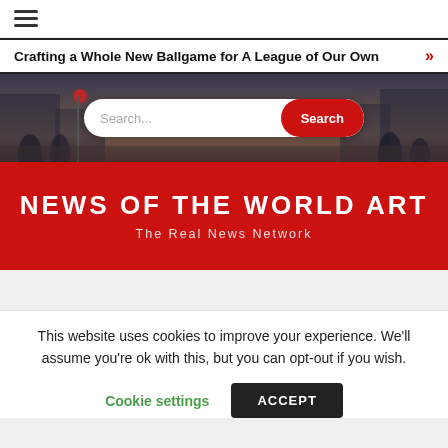≡ (hamburger menu)
Crafting a Whole New Ballgame for A League of Our Own »
[Figure (photo): City street scene with crowd of people, red traffic light visible, search bar overlay with text field 'Search...' and red 'Search' button]
NEWS OF THE WORLD ART
The Real News Network
This website uses cookies to improve your experience. We'll assume you're ok with this, but you can opt-out if you wish.
Cookie settings   ACCEPT